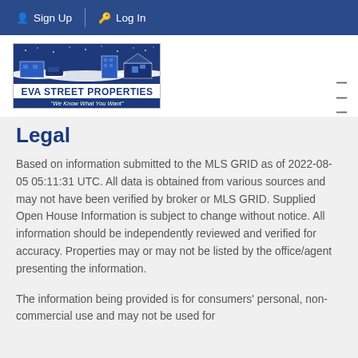Sign Up  Log In
[Figure (logo): Eva Street Properties logo with night skyline illustration and tagline 'We Know What You Want']
Legal
Based on information submitted to the MLS GRID as of 2022-08-05 05:11:31 UTC. All data is obtained from various sources and may not have been verified by broker or MLS GRID. Supplied Open House Information is subject to change without notice. All information should be independently reviewed and verified for accuracy. Properties may or may not be listed by the office/agent presenting the information.
The information being provided is for consumers' personal, non-commercial use and may not be used for